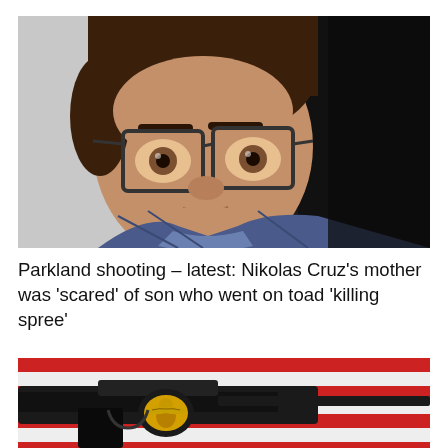[Figure (photo): Close-up photo of a young man with dark messy hair wearing large wire-rimmed glasses and a blue plaid jacket, looking slightly downward against a dark background.]
Parkland shooting – latest: Nikolas Cruz's mother was 'scared' of son who went on toad 'killing spree'
[Figure (photo): Close-up photo of a dark military-style rifle with a gold eagle emblem, with an American flag with red and white stripes visible in the background.]